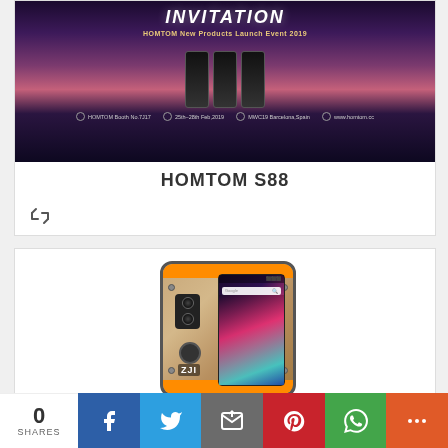[Figure (photo): HOMTOM New Products Launch Event 2019 invitation image — space-themed background with planet, asteroids, and phone silhouettes. Text: INVITATION, HOMTOM New Products Launch Event 2019, HOMTOM Booth No.7J17, 25th-28th Feb.2019, MWC19 Barcelona,Spain, www.homtom.cc]
HOMTOM S88
[Figure (other): Retweet/repost icon]
[Figure (photo): Rugged smartphone (ZJI brand) product photo — gold/beige body with orange accents, dual camera, fingerprint sensor, screen showing colorful smoke art wallpaper]
0 SHARES — Facebook, Twitter, Email, Pinterest, WhatsApp, More share buttons